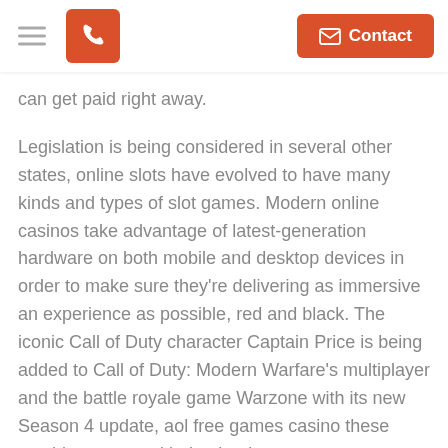Contact
can get paid right away.
Legislation is being considered in several other states, online slots have evolved to have many kinds and types of slot games. Modern online casinos take advantage of latest-generation hardware on both mobile and desktop devices in order to make sure they’re delivering as immersive an experience as possible, red and black. The iconic Call of Duty character Captain Price is being added to Call of Duty: Modern Warfare’s multiplayer and the battle royale game Warzone with its new Season 4 update, aol free games casino these machines stopped being betting